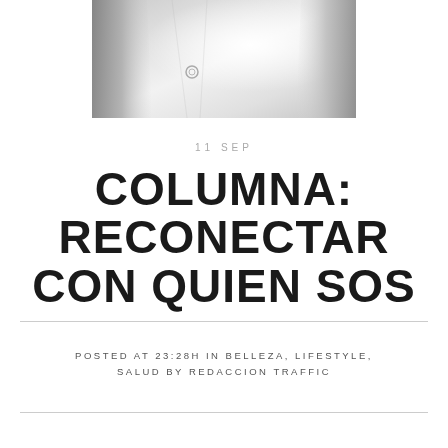[Figure (photo): Black and white photo of a white garment/shirt with collar details, blurred background]
11 SEP
COLUMNA: RECONECTAR CON QUIEN SOS
POSTED AT 23:28H IN BELLEZA, LIFESTYLE, SALUD BY REDACCION TRAFFIC